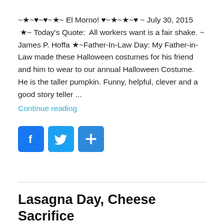~★~♥~♥~★~ El Morno! ♥~★~★~♥ ~ July 30, 2015  ★~ Today's Quote:  All workers want is a fair shake. ~ James P. Hoffa ★~Father-In-Law Day: My Father-in-Law made these Halloween costumes for his friend and him to wear to our annual Halloween Costume. He is the taller pumpkin. Funny, helpful, clever and a good story teller ...
Continue reading
[Figure (infographic): Three social sharing buttons: Facebook (blue with f icon), Twitter (light blue with bird icon), and a share/plus button (blue with + icon)]
Lasagna Day, Cheese Sacrifice Purchase Day, Rain Day